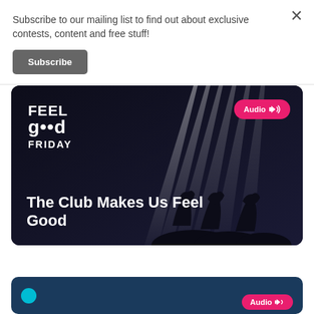Subscribe to our mailing list to find out about exclusive contests, content and free stuff!
Subscribe
[Figure (photo): Dark concert scene with laser light beams and silhouetted crowd; 'Feel Good Friday' logo in top-left; 'Audio' badge in top-right; title text 'The Club Makes Us Feel Good' in white bold at bottom-left]
[Figure (photo): Partially visible second audio card with teal dot and Audio badge, dark blue background]